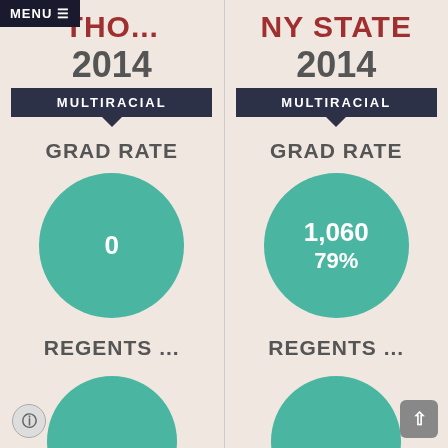MENU ≡
THO...
2014
MULTIRACIAL
GRAD RATE
[Figure (donut-chart): Grad Rate Left]
REGENTS ...
NY STATE
2014
MULTIRACIAL
GRAD RATE
[Figure (donut-chart): Grad Rate Right]
REGENTS ...